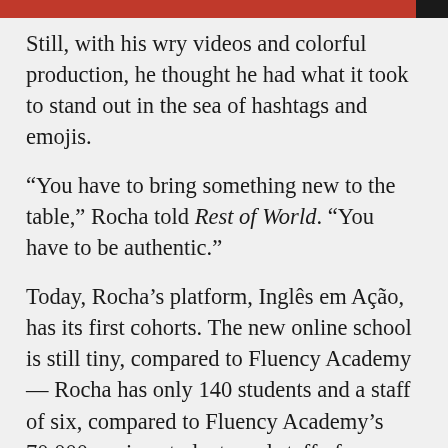Still, with his wry videos and colorful production, he thought he had what it took to stand out in the sea of hashtags and emojis.
“You have to bring something new to the table,” Rocha told Rest of World. “You have to be authentic.”
Today, Rocha’s platform, Inglês em Ação, has its first cohorts. The new online school is still tiny, compared to Fluency Academy — Rocha has only 140 students and a staff of six, compared to Fluency Academy’s 70,000 paying students and staff of hundreds — but he is optimistic that it will grow. With Brazil’s low level of